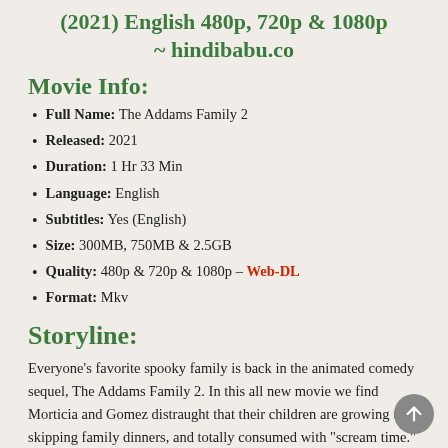The Addams Family 2 (2021) English 480p, 720p & 1080p ~ hindibabu.co
Movie Info:
Full Name: The Addams Family 2
Released: 2021
Duration: 1 Hr 33 Min
Language: English
Subtitles: Yes (English)
Size: 300MB, 750MB & 2.5GB
Quality: 480p & 720p & 1080p – Web-DL
Format: Mkv
Storyline:
Everyone's favorite spooky family is back in the animated comedy sequel, The Addams Family 2. In this all new movie we find Morticia and Gomez distraught that their children are growing up, skipping family dinners, and totally consumed with "scream time." To reclaim their bond they decide to cram